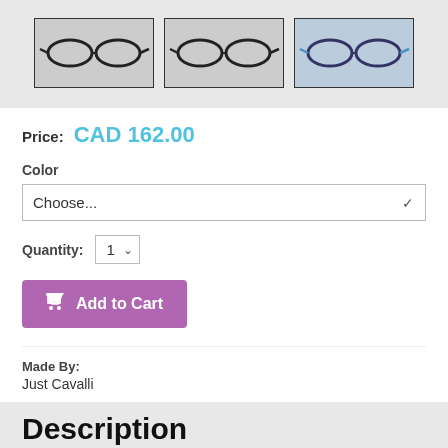[Figure (photo): Three thumbnail images of eyeglasses frames shown from slightly different angles]
Price: CAD 162.00
Color
Choose...
Quantity: 1
Add to Cart
Made By:
Just Cavalli
Description